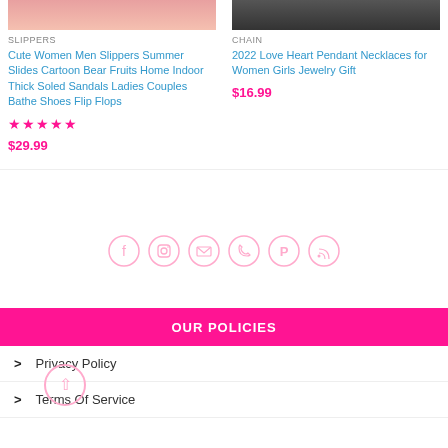[Figure (photo): Product image of slippers (cropped, top portion)]
SLIPPERS
Cute Women Men Slippers Summer Slides Cartoon Bear Fruits Home Indoor Thick Soled Sandals Ladies Couples Bathe Shoes Flip Flops
★★★★★
$29.99
[Figure (photo): Product image of chain necklace (cropped, top portion)]
CHAIN
2022 Love Heart Pendant Necklaces for Women Girls Jewelry Gift
$16.99
[Figure (infographic): Social media icons row: Facebook, Instagram, Email, Phone, Pinterest, RSS]
OUR POLICIES
Privacy Policy
Terms Of Service